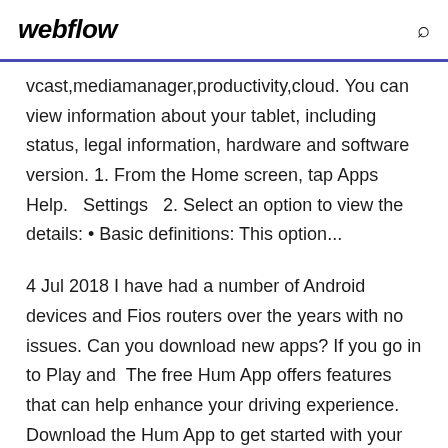webflow
vcast,mediamanager,productivity,cloud. You can view information about your tablet, including status, legal information, hardware and software version. 1. From the Home screen, tap Apps Help.   Settings   2. Select an option to view the details: • Basic definitions: This option...
4 Jul 2018 I have had a number of Android devices and Fios routers over the years with no issues. Can you download new apps? If you go in to Play and  The free Hum App offers features that can help enhance your driving experience. Download the Hum App to get started with your personal Safety Score, access, Google